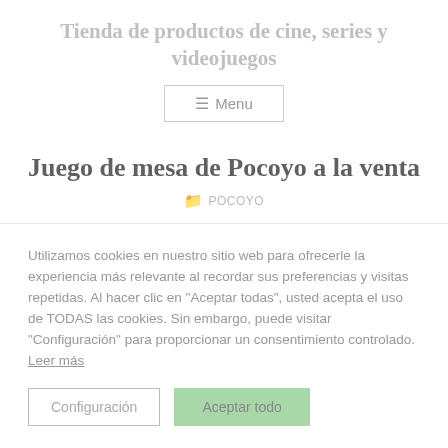Tienda de productos de cine, series y videojuegos
Juego de mesa de Pocoyo a la venta
POCOYO
Hola en nuestra web vas a encontrar los mejores productos de cine y series online o series de televisión y los podrás comprar al mejor
Utilizamos cookies en nuestro sitio web para ofrecerle la experiencia más relevante al recordar sus preferencias y visitas repetidas. Al hacer clic en "Aceptar todas", usted acepta el uso de TODAS las cookies. Sin embargo, puede visitar "Configuración" para proporcionar un consentimiento controlado. Leer más
Configuración
Aceptar todo